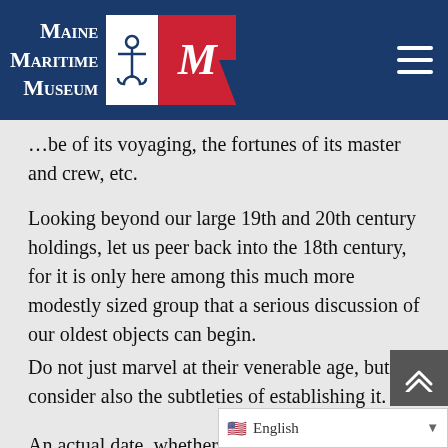Maine Maritime Museum
…be of its voyaging, the fortunes of its master and crew, etc.
Looking beyond our large 19th and 20th century holdings, let us peer back into the 18th century, for it is only here among this much more modestly sized group that a serious discussion of our oldest objects can begin.
Do not just marvel at their venerable age, but consider also the subtleties of establishing it.
An actual date, whether printed upon a label, carved into the surface, scratched on the back, or otherwise affixed to the object, can be en…